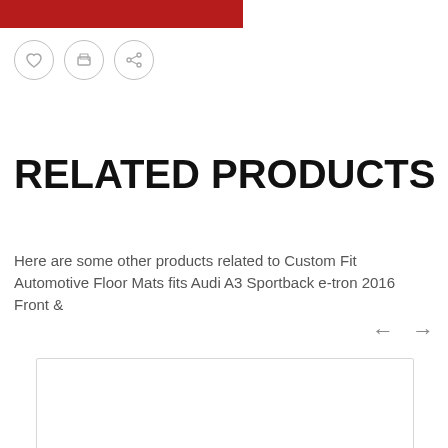[Figure (other): Red horizontal bar at top of page]
[Figure (other): Row of three icon circles: heart/favorite, print, and share icons]
RELATED PRODUCTS
Here are some other products related to Custom Fit Automotive Floor Mats fits Audi A3 Sportback e-tron 2016 Front &
[Figure (other): Left and right navigation arrows for product carousel]
[Figure (other): Product card placeholder with border]